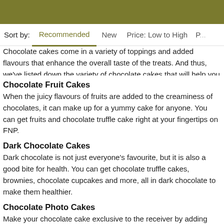Sort by: Recommended  New  Price: Low to High  P...
Chocolate cakes come in a variety of toppings and added flavours that enhance the overall taste of the treats. And thus, we've listed down the variety of chocolate cakes that will help you pick the best one online from FNP.
Chocolate Fruit Cakes
When the juicy flavours of fruits are added to the creaminess of chocolates, it can make up for a yummy cake for anyone. You can get fruits and chocolate truffle cake right at your fingertips on FNP.
Dark Chocolate Cakes
Dark chocolate is not just everyone's favourite, but it is also a good bite for health. You can get chocolate truffle cakes, brownies, chocolate cupcakes and more, all in dark chocolate to make them healthier.
Chocolate Photo Cakes
Make your chocolate cake exclusive to the receiver by adding